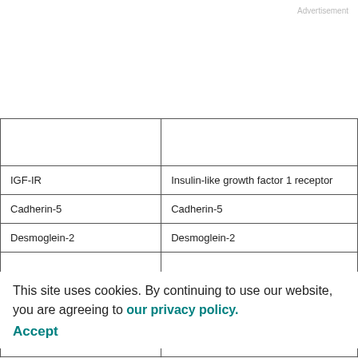Advertisement
| Abbreviation | Full name |
| --- | --- |
| IGF-IR | Insulin-like growth factor 1 receptor |
| Cadherin-5 | Cadherin-5 |
| Desmoglein-2 | Desmoglein-2 |
|  |  |
| IR | Insulin receptor |
| JAG1 | Protein jagged-1 |
|  |  |
This site uses cookies. By continuing to use our website, you are agreeing to our privacy policy. Accept